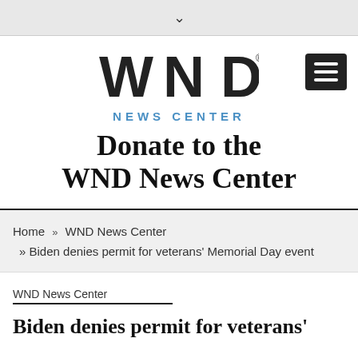▾
[Figure (logo): WND News Center logo with stylized WND letters and blue NEWS CENTER text below]
Donate to the WND News Center
Home » WND News Center » Biden denies permit for veterans' Memorial Day event
WND News Center
Biden denies permit for veterans' Memorial Day event